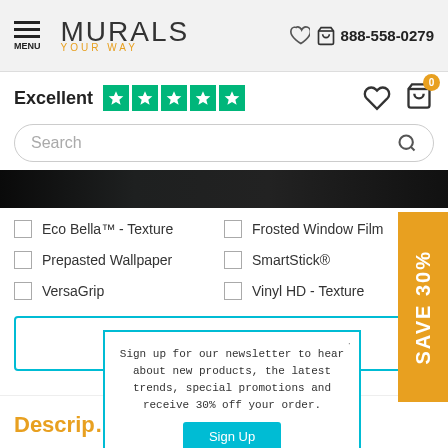MENU | MURALS YOUR WAY | 888-558-0279
Excellent ★★★★★
Search
[Figure (screenshot): Dark banner image strip]
Eco Bella™ - Texture
Frosted Window Film
Prepasted Wallpaper
SmartStick®
VersaGrip
Vinyl HD - Texture
Order Samples
Descrip…
Sign up for our newsletter to hear about new products, the latest trends, special promotions and receive 30% off your order.
Sign Up
No thanks